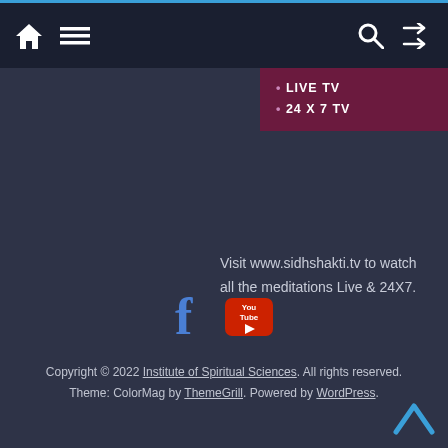Navigation bar with home, menu, search, and shuffle icons
[Figure (infographic): Live TV banner with purple background showing LIVE TV and 24 X 7 TV text]
Visit www.sidhshakti.tv to watch all the meditations Live & 24X7.
[Figure (infographic): Facebook and YouTube social media icons]
Copyright © 2022 Institute of Spiritual Sciences. All rights reserved. Theme: ColorMag by ThemeGrill. Powered by WordPress.